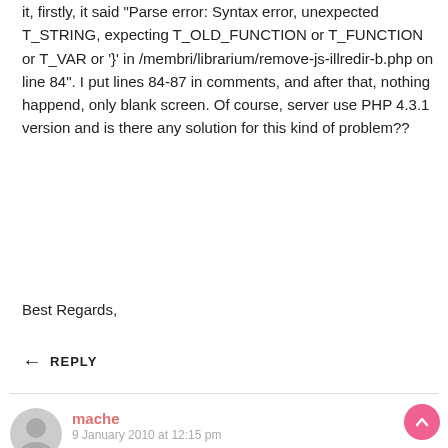it, firstly, it said "Parse error: Syntax error, unexpected T_STRING, expecting T_OLD_FUNCTION or T_FUNCTION or T_VAR or '}' in /membri/librarium/remove-js-illredir-b.php on line 84". I put lines 84-87 in comments, and after that, nothing happend, only blank screen. Of course, server use PHP 4.3.1 version and is there any solution for this kind of problem??
Best Regards,
REPLY
mache
9 January 2010 at 12:15 pm
hi